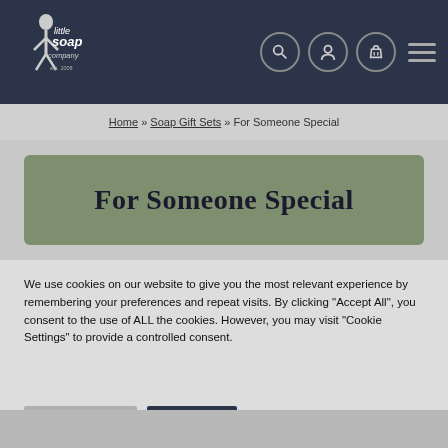[Figure (logo): Little Soap Company logo with illustrated figure and text, est. 2008, on dark navy background]
Home » Soap Gift Sets » For Someone Special
For Someone Special
We use cookies on our website to give you the most relevant experience by remembering your preferences and repeat visits. By clicking "Accept All", you consent to the use of ALL the cookies. However, you may visit "Cookie Settings" to provide a controlled consent.
Cookie Settings | Accept All